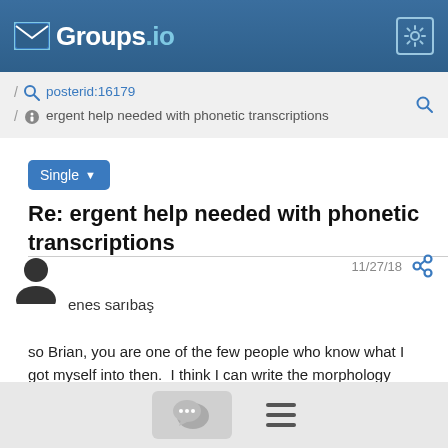[Figure (screenshot): Groups.io website header logo with envelope icon and gear settings icon]
posterid:16179 / ergent help needed with phonetic transcriptions
Single
Re: ergent help needed with phonetic transcriptions
11/27/18  enes sarıbaş
so Brian, you are one of the few people who know what I got myself into then.  I think I can write the morphology assignment with no phonetics. Moreover, as I will do my thesis on pragmatics, I will not use more phonetics for the rest of my master. But I want